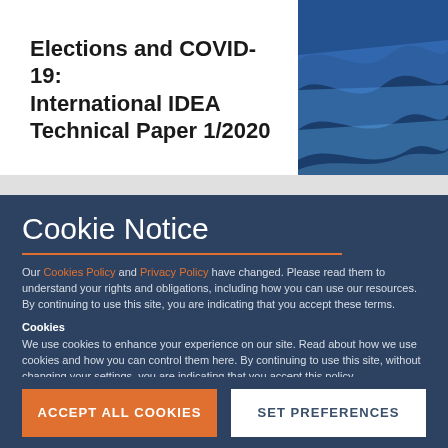Elections and COVID-19: International IDEA Technical Paper 1/2020
[Figure (illustration): Abstract blue wave graphic on dark blue background]
Cookie Notice
Our Cookies Policy and Privacy Policy have changed. Please read them to understand your rights and obligations, including how you can use our resources. By continuing to use this site, you are indicating that you accept these terms.
Cookies
We use cookies to enhance your experience on our site. Read about how we use cookies and how you can control them here. By continuing to use this site, without changing your settings, you are indicating that you accept this policy.
ACCEPT ALL COOKIES
SET PREFERENCES